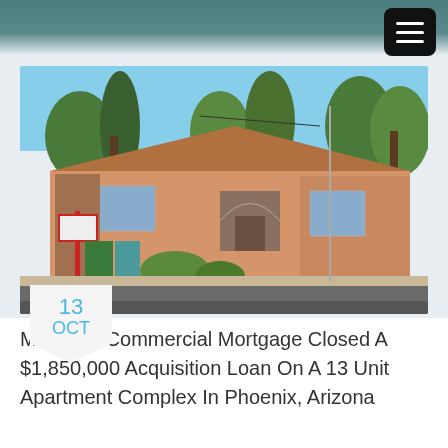[Figure (photo): Exterior photo of a single-story apartment complex building in Phoenix, Arizona. The building is a tan/peach color with an arched entrance, palm trees visible in the background, blue sky above, and a street in the foreground.]
13
OCT
Maverick Commercial Mortgage Closed A $1,850,000 Acquisition Loan On A 13 Unit Apartment Complex In Phoenix, Arizona